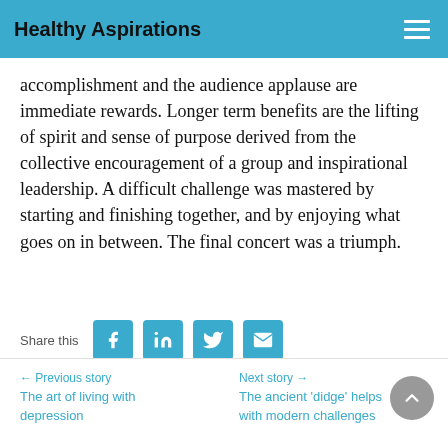Healthy Aspirations
accomplishment and the audience applause are immediate rewards. Longer term benefits are the lifting of spirit and sense of purpose derived from the collective encouragement of a group and inspirational leadership. A difficult challenge was mastered by starting and finishing together, and by enjoying what goes on in between. The final concert was a triumph.
Share this
← Previous story
The art of living with depression
Next story →
The ancient 'didge' helps with modern challenges